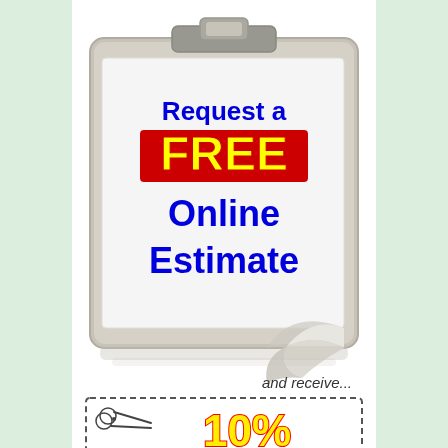[Figure (illustration): Clipboard with a curled page showing text 'Request a FREE Online Estimate', with a scissors coupon below showing 'and receive... 10%']